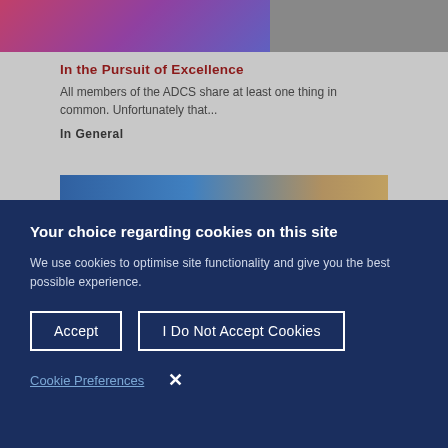[Figure (screenshot): Website background showing article images with a pink-purple gradient image on left and a person's photo on right]
In the Pursuit of Excellence
All members of the ADCS share at least one thing in common. Unfortunately that...
In General
[Figure (photo): Partially visible second article image with blue and gold tones]
Your choice regarding cookies on this site
We use cookies to optimise site functionality and give you the best possible experience.
Accept
I Do Not Accept Cookies
Cookie Preferences